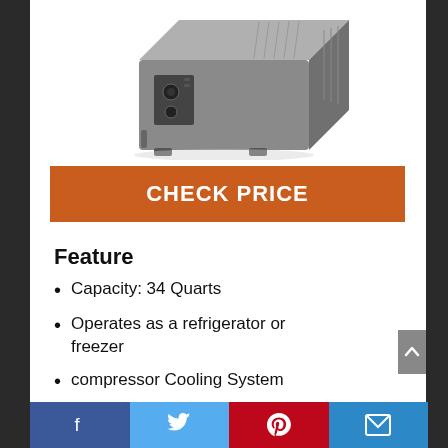[Figure (photo): Gray portable refrigerator/freezer cooler unit, angled view showing control panel on side]
CHECK PRICE
Feature
Capacity: 34 Quarts
Operates as a refrigerator or freezer
compressor Cooling System
8-feet AC power cord and 10 feet